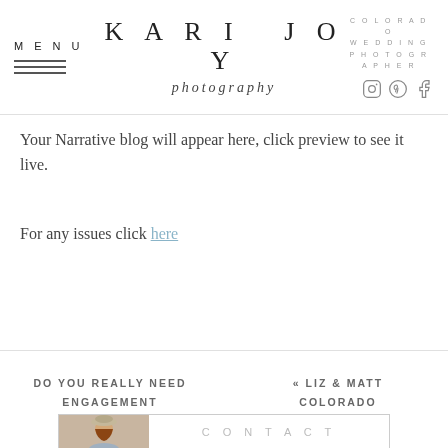MENU  KARI JOY photography  COLORADO WEDDING PHOTOGRAPHER
Your Narrative blog will appear here, click preview to see it live.
For any issues click here
DO YOU REALLY NEED ENGAGEMENT PHOTOS? »
« LIZ & MATT COLORADO ENGAGEMENT
[Figure (photo): Contact section with photo of woman wearing a hat, smiling, with 'CONTACT' text overlay]